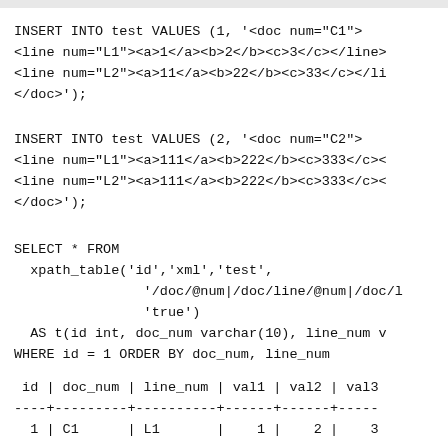INSERT INTO test VALUES (1, '<doc num="C1">
<line num="L1"><a>1</a><b>2</b><c>3</c></line>
<line num="L2"><a>11</a><b>22</b><c>33</c></li
</doc>');
INSERT INTO test VALUES (2, '<doc num="C2">
<line num="L1"><a>111</a><b>222</b><c>333</c><
<line num="L2"><a>111</a><b>222</b><c>333</c><
</doc>');
SELECT * FROM
  xpath_table('id','xml','test',
                '/doc/@num|/doc/line/@num|/doc/l
                'true')
  AS t(id int, doc_num varchar(10), line_num v
WHERE id = 1 ORDER BY doc_num, line_num
| id | doc_num | line_num | val1 | val2 | val3 |
| --- | --- | --- | --- | --- | --- |
| 1 | C1 | L1 | 1 | 2 | 3 |